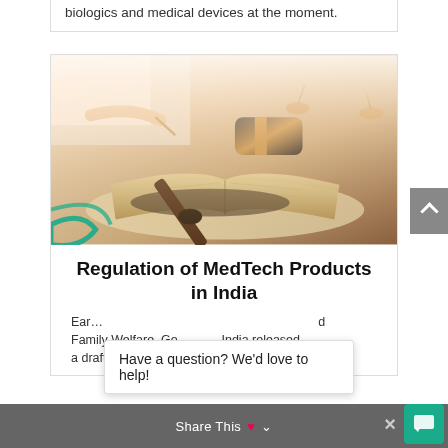biologics and medical devices at the moment.
[Figure (photo): Photo of a judge's gavel resting on open legal books with scales of justice in the background, and a person writing in the background. A teal circle decoration is visible at the bottom left of the image.]
Regulation of MedTech Products in India
Early... d Family Welfare, Go... India released a draft of the Drugs, Medical Devices and...
Have a question? We'd love to help!
Share This